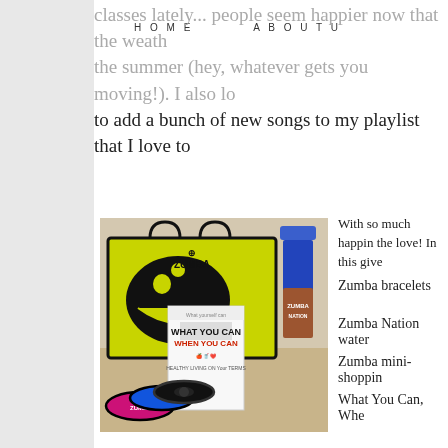HOME   ABOUT U
classes lately... people seem happier now that the weath the summer (hey, whatever gets you moving!). I also lo to add a bunch of new songs to my playlist that I love to
[Figure (photo): Photo of Zumba giveaway items: a bright yellow-green Zumba branded tote bag, a purple glittery water bottle, a book titled 'What You Can When You Can - Healthy Living on Your Terms', and Zumba bracelets in pink, blue, and black, all on a wooden table.]
With so much happin the love! In this give
Zumba bracelets
Zumba Nation water
Zumba mini-shoppin
What You Can, Whe